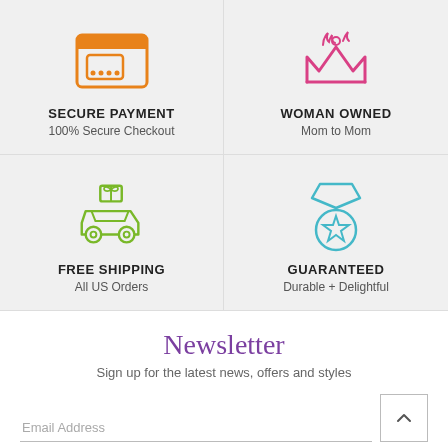[Figure (illustration): Orange credit card / secure payment icon]
SECURE PAYMENT
100% Secure Checkout
[Figure (illustration): Pink crown icon representing woman owned]
WOMAN OWNED
Mom to Mom
[Figure (illustration): Green car with gift on top representing free shipping]
FREE SHIPPING
All US Orders
[Figure (illustration): Teal medal/badge with star representing guaranteed quality]
GUARANTEED
Durable + Delightful
Newsletter
Sign up for the latest news, offers and styles
Email Address
JOIN